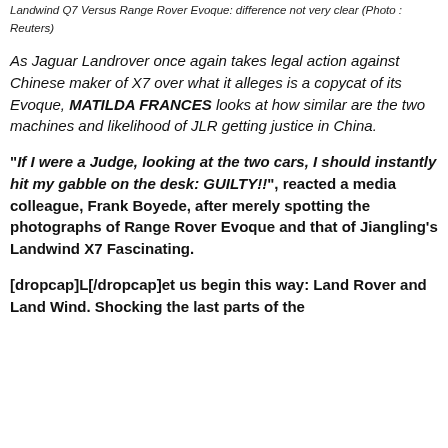Landwind Q7 Versus Range Rover Evoque: difference not very clear (Photo : Reuters)
As Jaguar Landrover once again takes legal action against Chinese maker of X7 over what it alleges is a copycat of its Evoque, MATILDA FRANCES looks at how similar are the two machines and likelihood of JLR getting justice in China.
“If I were a Judge, looking at the two cars, I should instantly hit my gabble on the desk: GUILTY!!”, reacted a media colleague, Frank Boyede, after merely spotting the photographs of Range Rover Evoque and that of Jiangling’s Landwind X7 Fascinating.
[dropcap]L[/dropcap]et us begin this way: Land Rover and Land Wind. Shocking the last parts of the